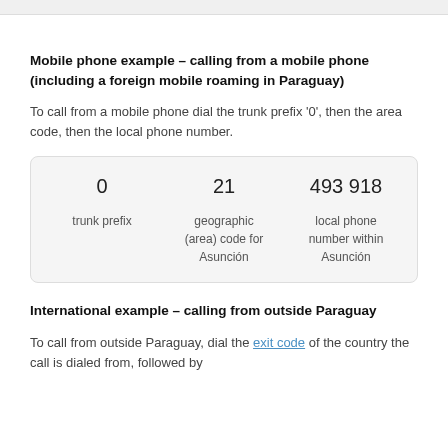Mobile phone example – calling from a mobile phone (including a foreign mobile roaming in Paraguay)
To call from a mobile phone dial the trunk prefix '0', then the area code, then the local phone number.
[Figure (infographic): Diagram showing three parts of a phone number: '0' (trunk prefix), '21' (geographic (area) code for Asunción), '493 918' (local phone number within Asunción)]
International example – calling from outside Paraguay
To call from outside Paraguay, dial the exit code of the country the call is dialed from, followed by